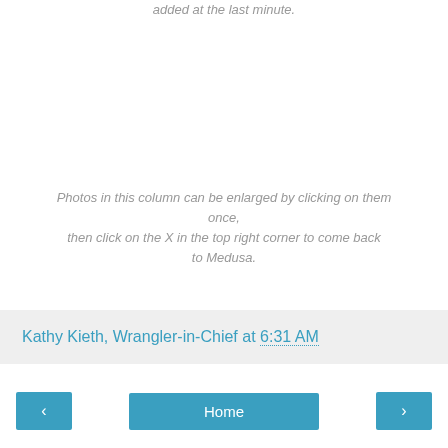added at the last minute.
Photos in this column can be enlarged by clicking on them once, then click on the X in the top right corner to come back to Medusa.
Kathy Kieth, Wrangler-in-Chief at 6:31 AM
Home